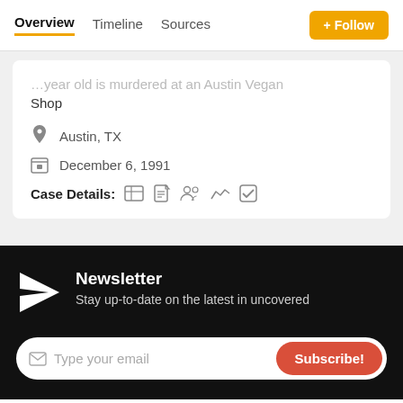Overview  Timeline  Sources  + Follow
...year old is murdered at an Austin Vegan Shop
Austin, TX
December 6, 1991
Case Details:
Newsletter
Stay up-to-date on the latest in uncovered
Type your email
Subscribe!